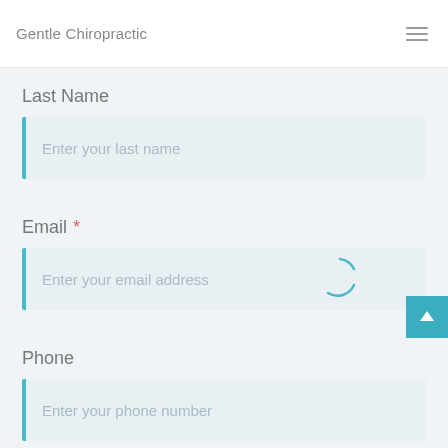Gentle Chiropractic
Last Name
Enter your last name
Email *
Enter your email address
Phone
Enter your phone number
Message